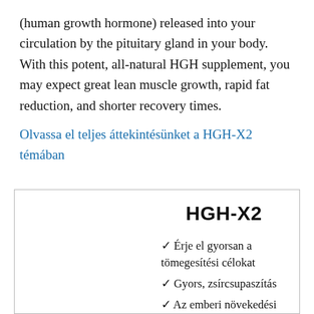(human growth hormone) released into your circulation by the pituitary gland in your body. With this potent, all-natural HGH supplement, you may expect great lean muscle growth, rapid fat reduction, and shorter recovery times.
Olvassa el teljes áttekintésünket a HGH-X2 témában
HGH-X2
✓ Érje el gyorsan a tömegesítési célokat
✓ Gyors, zsírcsupaszítás
✓ Az emberi növekedési hormon megnövekedett